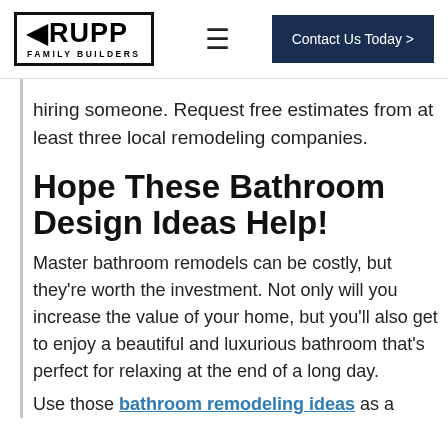[Figure (logo): Rupp Family Builders logo - black bordered box with RUPP in bold and 'FAMILY BUILDERS' below]
hiring someone. Request free estimates from at least three local remodeling companies.
Hope These Bathroom Design Ideas Help!
Master bathroom remodels can be costly, but they're worth the investment. Not only will you increase the value of your home, but you'll also get to enjoy a beautiful and luxurious bathroom that's perfect for relaxing at the end of a long day.
Use those bathroom remodeling ideas as a